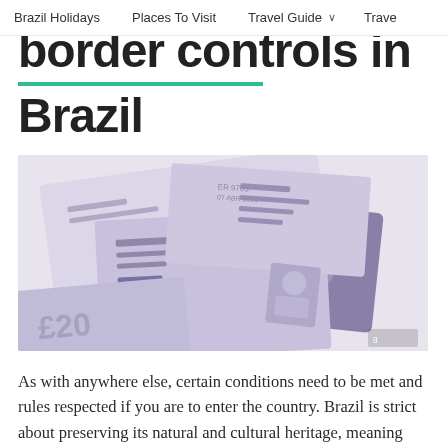Brazil Holidays   Places To Visit   Travel Guide ∨   Trave
border controls in Brazil
[Figure (photo): Photo of travel documents including passports and boarding passes scattered on a surface, shown in muted purple-grey tones]
As with anywhere else, certain conditions need to be met and rules respected if you are to enter the country. Brazil is strict about preserving its natural and cultural heritage, meaning restrictions are in place.